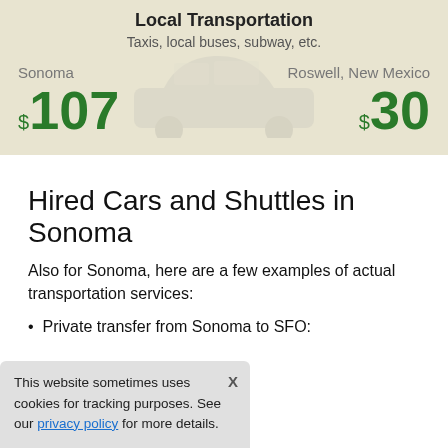Local Transportation
Taxis, local buses, subway, etc.
Sonoma   $107       Roswell, New Mexico   $30
Hired Cars and Shuttles in Sonoma
Also for Sonoma, here are a few examples of actual transportation services:
Private transfer from Sonoma to SFO:
om SFO to Sonoma:
This website sometimes uses cookies for tracking purposes. See our privacy policy for more details.